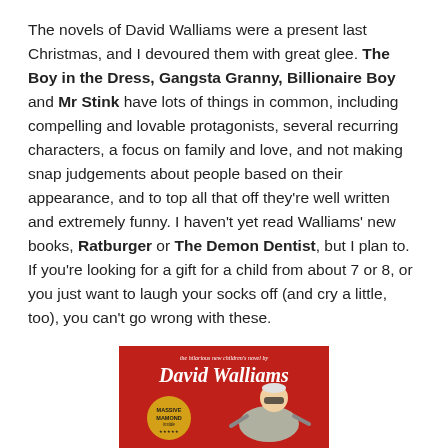The novels of David Walliams were a present last Christmas, and I devoured them with great glee. The Boy in the Dress, Gangsta Granny, Billionaire Boy and Mr Stink have lots of things in common, including compelling and lovable protagonists, several recurring characters, a focus on family and love, and not making snap judgements about people based on their appearance, and to top all that off they're well written and extremely funny. I haven't yet read Walliams' new books, Ratburger or The Demon Dentist, but I plan to. If you're looking for a gift for a child from about 7 or 8, or you just want to laugh your socks off (and cry a little, too), you can't go wrong with these.
[Figure (illustration): Book cover of a David Walliams children's novel on a red background with the text 'the hilarious new children's novel by David Walliams' at the top in cursive, a gold badge reading 'MASSIVE MAMOND inside', and a cartoon illustration of what appears to be an elderly character.]